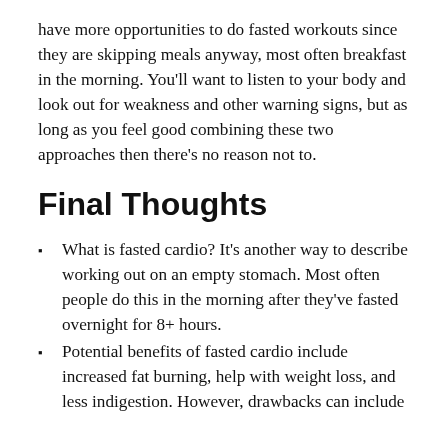have more opportunities to do fasted workouts since they are skipping meals anyway, most often breakfast in the morning. You'll want to listen to your body and look out for weakness and other warning signs, but as long as you feel good combining these two approaches then there's no reason not to.
Final Thoughts
What is fasted cardio? It's another way to describe working out on an empty stomach. Most often people do this in the morning after they've fasted overnight for 8+ hours.
Potential benefits of fasted cardio include increased fat burning, help with weight loss, and less indigestion. However, drawbacks can include